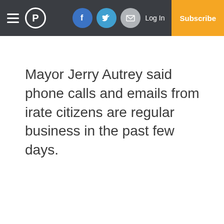Menu | P | Facebook | Twitter | Email | Log In | Subscribe
Mayor Jerry Autrey said phone calls and emails from irate citizens are regular business in the past few days.